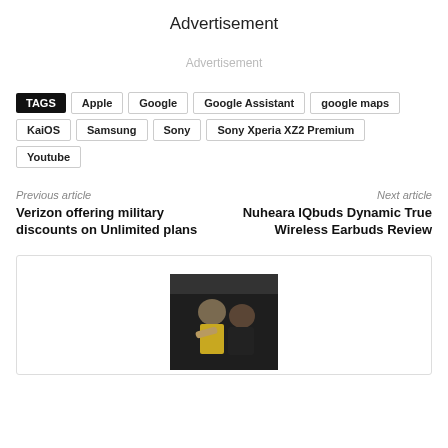Advertisement
Advertisement
TAGS  Apple  Google  Google Assistant  google maps  KaiOS  Samsung  Sony  Sony Xperia XZ2 Premium  Youtube
Previous article
Verizon offering military discounts on Unlimited plans
Next article
Nuheara IQbuds Dynamic True Wireless Earbuds Review
[Figure (photo): Author photo showing two people, a child in a yellow shirt and an adult, in a dark indoor setting]